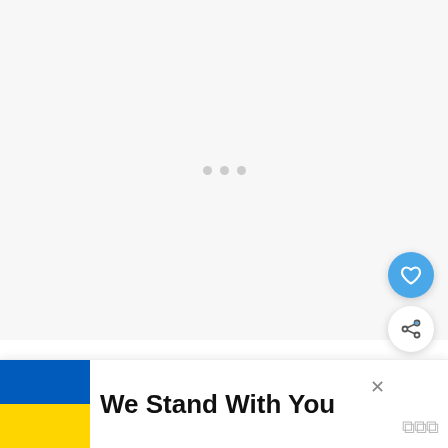[Figure (screenshot): Large white/light gray content area with three small gray loading dots centered, representing a media placeholder or loading video area]
[Figure (other): Blue circular floating action button with a white heart icon]
[Figure (other): White circular floating action button with a share/add icon]
[Figure (other): What's Next thumbnail bar showing '20 pretty bras & bralettes f...' with a small decorative image thumbnail and blue WHAT'S NEXT arrow label]
I love tying a pretty ribbon around the stems just to make it look extra pretty for gifting. We layered a na
[Figure (other): Ukraine solidarity banner: Ukrainian flag (blue and yellow halves) on the left, bold text 'We Stand With You' on right, with a close X button]